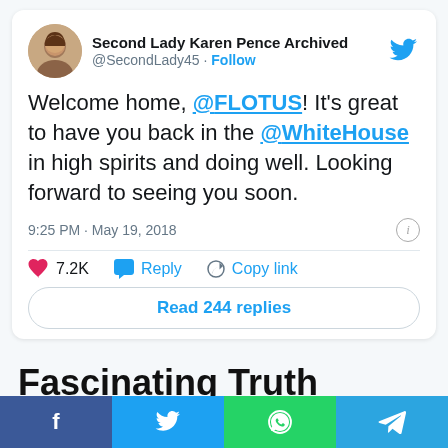[Figure (screenshot): Tweet from Second Lady Karen Pence Archived (@SecondLady45) with follow button and Twitter bird logo. Avatar shows a woman's profile photo.]
Welcome home, @FLOTUS! It's great to have you back in the @WhiteHouse in high spirits and doing well. Looking forward to seeing you soon.
9:25 PM · May 19, 2018
7.2K   Reply   Copy link
Read 244 replies
Fascinating Truth About Karen Pence
10. Karen Pence has a direct impact on the
[Figure (infographic): Social sharing bar at bottom with Facebook, Twitter, WhatsApp, and Telegram buttons]